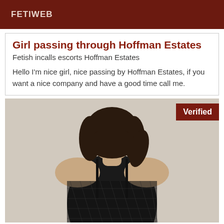FETIWEB
Girl passing through Hoffman Estates
Fetish incalls escorts Hoffman Estates
Hello I'm nice girl, nice passing by Hoffman Estates, if you want a nice company and have a good time call me.
[Figure (photo): Photo of a woman from behind with dark hair wearing a black fishnet bodysuit, with a 'Verified' badge overlay in the top right corner]